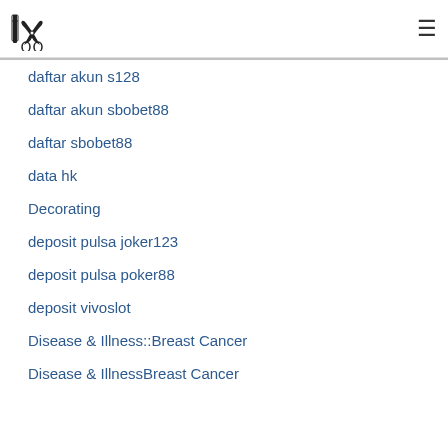[Logo: comb and scissors icon] [hamburger menu]
daftar akun s128
daftar akun sbobet88
daftar sbobet88
data hk
Decorating
deposit pulsa joker123
deposit pulsa poker88
deposit vivoslot
Disease & Illness::Breast Cancer
Disease & IllnessBreast Cancer